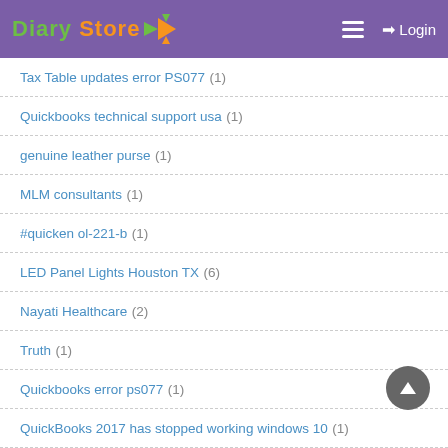Diary Store — Login
Tax Table updates error PS077 (1)
Quickbooks technical support usa (1)
genuine leather purse (1)
MLM consultants (1)
#quicken ol-221-b (1)
LED Panel Lights Houston TX (6)
Nayati Healthcare (2)
Truth (1)
Quickbooks error ps077 (1)
QuickBooks 2017 has stopped working windows 10 (1)
QuickBooks Error 6000 83 (1)